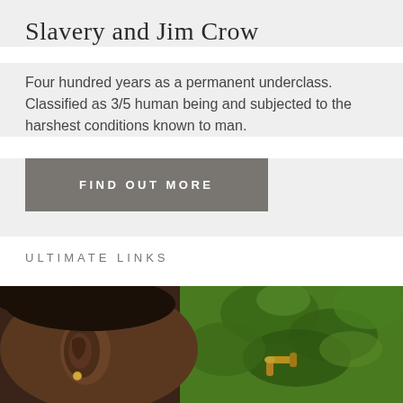Slavery and Jim Crow
Four hundred years as a permanent underclass. Classified as 3/5 human being and subjected to the harshest conditions known to man.
FIND OUT MORE
ULTIMATE LINKS
[Figure (photo): Close-up photo of a person's ear/side of head with a small earring, with a brass faucet/tap and green foliage in the background.]